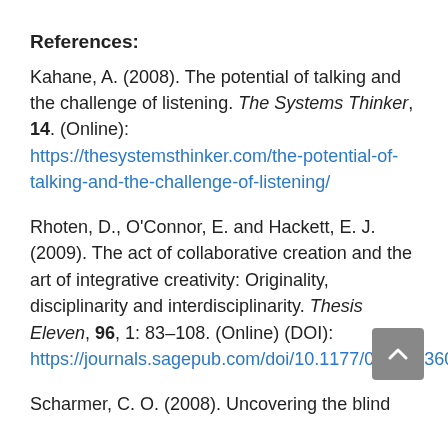References:
Kahane, A. (2008). The potential of talking and the challenge of listening. The Systems Thinker, 14. (Online): https://thesystemsthinker.com/the-potential-of-talking-and-the-challenge-of-listening/
Rhoten, D., O'Connor, E. and Hackett, E. J. (2009). The act of collaborative creation and the art of integrative creativity: Originality, disciplinarity and interdisciplinarity. Thesis Eleven, 96, 1: 83–108. (Online) (DOI): https://journals.sagepub.com/doi/10.1177/0725513608099121
Scharmer, C. O. (2008). Uncovering the blind